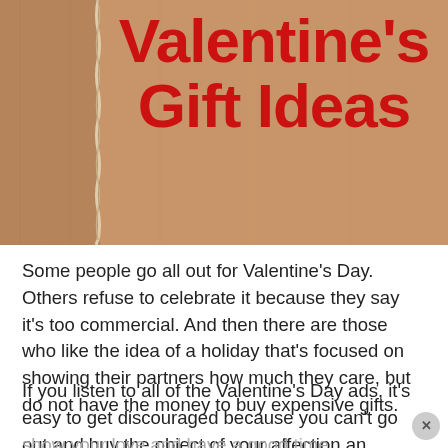[Figure (illustration): Brown kraft paper background with a rope or twine vertical line dividing a narrow left strip from the main area. Red bold text reads Valentine's Gift Ideas overlaid on the kraft paper.]
Valentine's Gift Ideas
Some people go all out for Valentine's Day. Others refuse to celebrate it because they say it's too commercial. And then there are those who like the idea of a holiday that's focused on showing their partners how much they care, but do not have the money to buy expensive gifts.
If you listen to all of the Valentine's Day ads, it's easy to get discouraged because you can't go out and buy the object of your affection an expensive diamond or a room full of roses. But if you keep in mind that Valentine's Day is a time to show your love and have a good time together, it's easy to